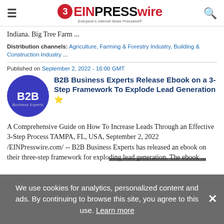EINPresswire - Everyone's Internet News Presswire
Indiana. Big Tree Farm ...
Distribution channels: Agriculture, Farming & Forestry Industry, Building & Construction Industry ...
Published on September 2, 2022 - 16:00 GMT
B2B Business Experts Release Ebook on a 3-Step Framework To Explode Lead Generation ⭐
A Comprehensive Guide on How To Increase Leads Through an Effective 3-Step Process TAMPA, FL, USA, September 2, 2022 /EINPresswire.com/ -- B2B Business Experts has released an ebook on their three-step framework for exploding lead generation. The ebook ...
We use cookies for analytics, personalized content and ads. By continuing to browse this site, you agree to this use. Learn more